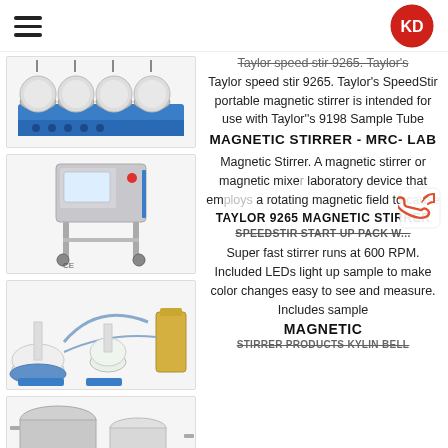KD logo and hamburger menu
[Figure (photo): Multi-position magnetic stirrer with 5 round vessels on a blue base unit]
Taylor Speed Stir 9265. Taylor's SpeedStir portable magnetic stirrer is intended for use with Taylor''s 9198 Sample Tube
MAGNETIC STIRRER - MRC- LAB
[Figure (photo): Large industrial stirrer unit on a metal stand with wheels]
Magnetic Stirrer. A magnetic stirrer or magnetic mixer is a laboratory device that employs a rotating magnetic field to cause
TAYLOR 9265 MAGNETIC STIRRER
SPEEDSTIR START UP PACK W...
[Figure (photo): Laboratory distillation setup with flasks, tubes, and yellow liquid container]
Super fast stirrer runs at 600 RPM. Included LEDs light up sample to make color changes easy to see and measure. Includes sample
MAGNETIC
STIRRER PRODUCTS KYLIN BELL
[Figure (photo): Industrial stirrer equipment with metal containers]